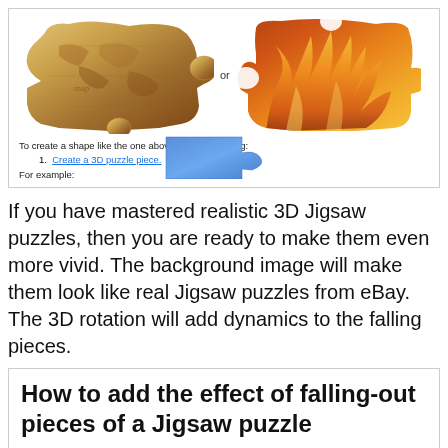[Figure (illustration): Two 3D jigsaw puzzle pieces side by side with 'or' text between them. Left piece has a map/parchment texture, right piece has a fire/flame texture.]
To create a shape like the one above, do the following:
1. Create a 3D puzzle piece.
For example:
[Figure (illustration): A blue 3D jigsaw puzzle piece shown partially at the bottom of the top box.]
If you have mastered realistic 3D Jigsaw puzzles, then you are ready to make them even more vivid. The background image will make them look like real Jigsaw puzzles from eBay. The 3D rotation will add dynamics to the falling pieces.
How to add the effect of falling-out pieces of a Jigsaw puzzle